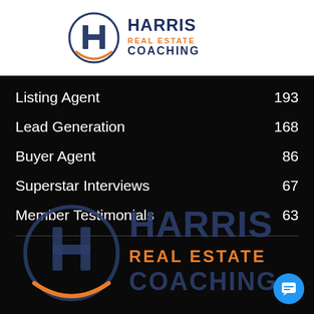[Figure (logo): Harris Real Estate Coaching logo in header bar, white background, circular H icon with orange accent and navy text]
Listing Agent  193
Lead Generation  168
Buyer Agent  86
Superstar Interviews  67
Member Testimonials  63
[Figure (logo): Large Harris Real Estate Coaching logo on dark background, navy circular H icon with orange arc accent, navy HARRIS text, orange REAL ESTATE text, navy COACHING text]